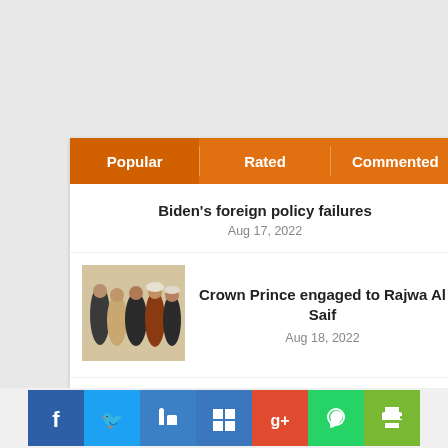Popular | Rated | Commented
Biden's foreign policy failures
Aug 17, 2022
[Figure (photo): Group photo of several people including Crown Prince and Rajwa Al Saif]
Crown Prince engaged to Rajwa Al Saif
Aug 18, 2022
Rethinking migration in Latin America
Aug 17, 2022
Net zero must mean business